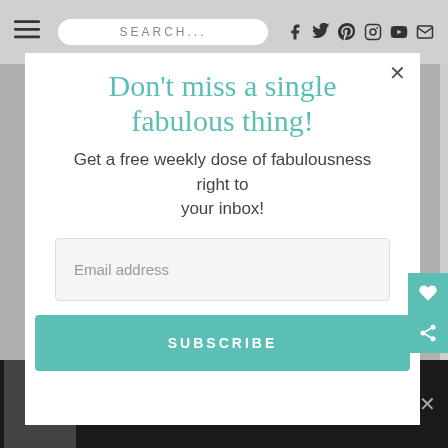SEARCH...
Don't miss a single fabulous thing!
Get a free weekly dose of fabulousness right to your inbox!
Email address
SUBSCRIBE
GROCERY WORKER'S APPRECIATION FUND